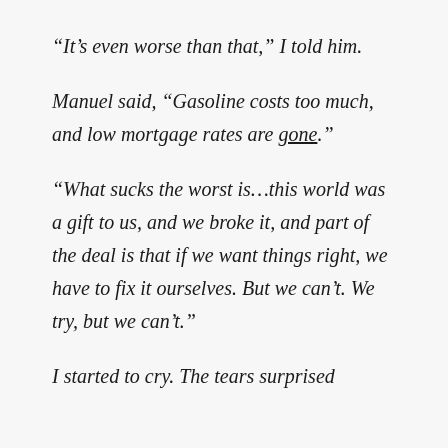“It’s even worse than that,” I told him.
Manuel said, “Gasoline costs too much, and low mortgage rates are gone.”
“What sucks the worst is…this world was a gift to us, and we broke it, and part of the deal is that if we want things right, we have to fix it ourselves. But we can’t. We try, but we can’t.”
I started to cry. The tears surprised